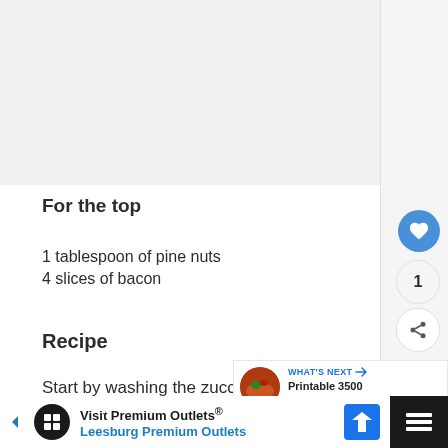For the top
1 tablespoon of pine nuts
4 slices of bacon
Recipe
Start by washing the zucchini
WHAT'S NEXT → Printable 3500 Calorie Meal....
Visit Premium Outlets® Leesburg Premium Outlets